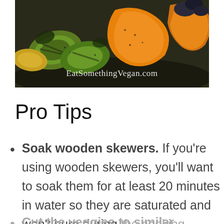[Figure (photo): Grilled vegetable skewers with zucchini, bell peppers, and other colorful vegetables on a dark surface, with watermark EatSomethingVegan.com]
Pro Tips
Soak wooden skewers. If you're using wooden skewers, you'll want to soak them for at least 20 minutes in water so they are saturated and won't burn during the cooking process.
Cut the veggies to similar